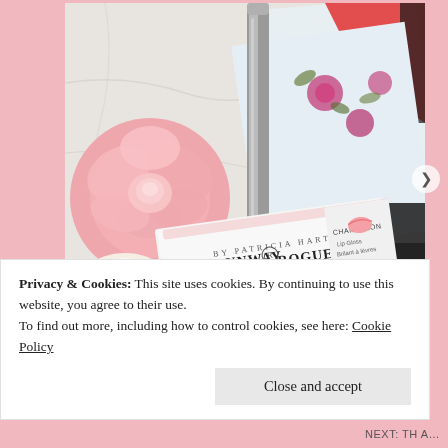[Figure (photo): Product photo of Runway Rogue by Patricia Hartmann lip gloss in shade Chameleon, shown in its white box packaging alongside a silver lip liner pencil, pink roses, and a floral patterned fabric/scarf on a marble surface.]
Privacy & Cookies: This site uses cookies. By continuing to use this website, you agree to their use.
To find out more, including how to control cookies, see here: Cookie Policy
Close and accept